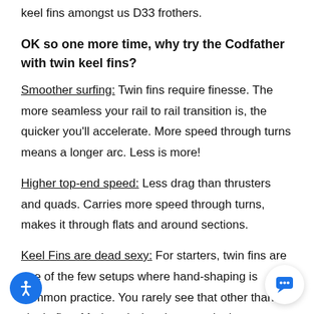keel fins amongst us D33 frothers.
OK so one more time, why try the Codfather with twin keel fins?
Smoother surfing: Twin fins require finesse. The more seamless your rail to rail transition is, the quicker you'll accelerate. More speed through turns means a longer arc. Less is more!
Higher top-end speed: Less drag than thrusters and quads. Carries more speed through turns, makes it through flats and around sections.
Keel Fins are dead sexy: For starters, twin fins are one of the few setups where hand-shaping is common practice. You rarely see that other than single fins. Marine ply, bamboo, pawlonia, fiberglass... you name it... hand shaped keel fins are here for the long haul, and nothing's prettier